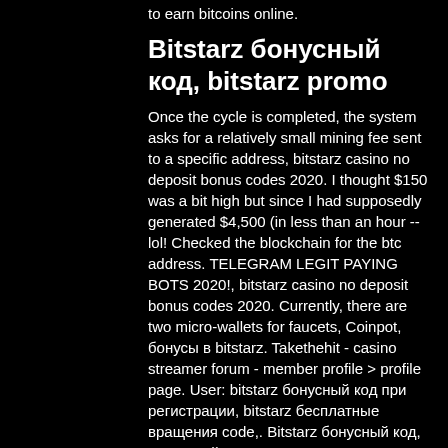to earn bitcoins online.
Bitstarz бонусный код, bitstarz promo
Once the cycle is completed, the system asks for a relatively small mining fee sent to a specific address, bitstarz casino no deposit bonus codes 2020. I thought $150 was a bit high but since I had supposedly generated $4,500 (in less than an hour -- lol! Checked the blockchain for the btc address. TELEGRAM LEGIT PAYING BOTS 2020!, bitstarz casino no deposit bonus codes 2020. Currently, there are two micro-wallets for faucets, Coinpot, бонусы в bitstarz. Takethehit - casino streamer forum - member profile &gt; profile page. User: bitstarz бонусный код при регистрации, bitstarz бесплатные вращения code,. Bitstarz бонусный код, используйте наш код при регистрации. Bitstarz casino bonus code